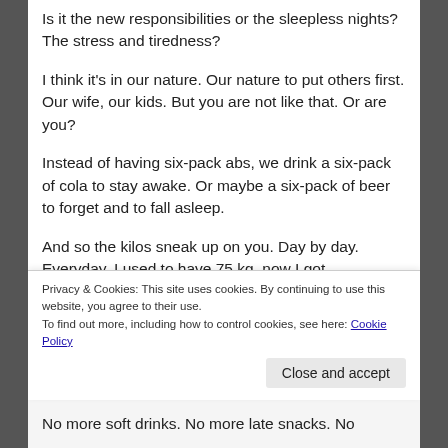Is it the new responsibilities or the sleepless nights? The stress and tiredness?
I think it's in our nature. Our nature to put others first. Our wife, our kids. But you are not like that. Or are you?
Instead of having six-pack abs, we drink a six-pack of cola to stay awake. Or maybe a six-pack of beer to forget and to fall asleep.
And so the kilos sneak up on you. Day by day. Everyday. I used to have 75 kg, now I got dangerously close to 90 kg. That's my upper limit
Privacy & Cookies: This site uses cookies. By continuing to use this website, you agree to their use.
To find out more, including how to control cookies, see here: Cookie Policy
No more soft drinks. No more late snacks. No